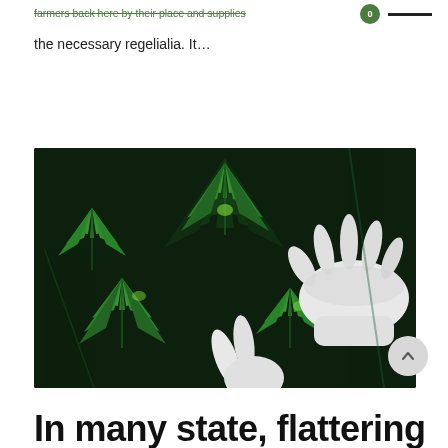farmers back here by their place and supplies with the necessary regelialia. It...
the necessary regelialia. It...
[Figure (photo): Gloved hands inspecting cannabis (marijuana) plants with lush green leaves against a dark background.]
In many state, flattering